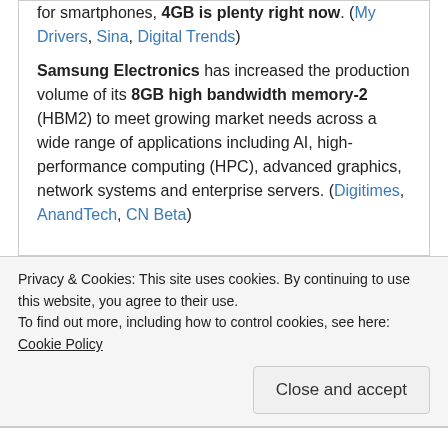for smartphones, 4GB is plenty right now. (My Drivers, Sina, Digital Trends)
Samsung Electronics has increased the production volume of its 8GB high bandwidth memory-2 (HBM2) to meet growing market needs across a wide range of applications including AI, high-performance computing (HPC), advanced graphics, network systems and enterprise servers. (Digitimes, AnandTech, CN Beta)
Privacy & Cookies: This site uses cookies. By continuing to use this website, you agree to their use. To find out more, including how to control cookies, see here: Cookie Policy
Close and accept